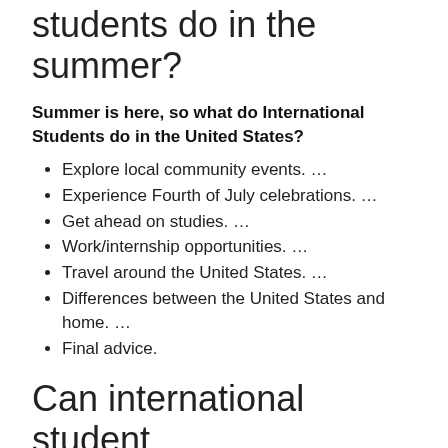students do in the summer?
Summer is here, so what do International Students do in the United States?
Explore local community events. …
Experience Fourth of July celebrations. …
Get ahead on studies. …
Work/internship opportunities. …
Travel around the United States. …
Differences between the United States and home. …
Final advice.
Can international student work illegally in USA?